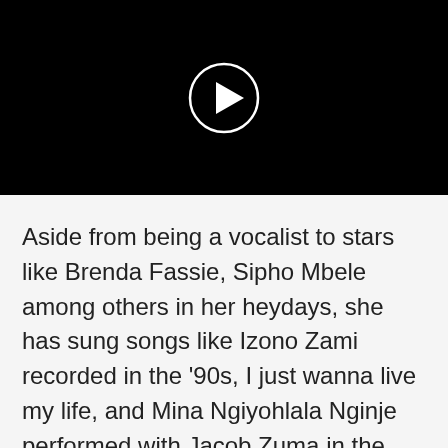[Figure (other): Black video player with a white circular play button in the center]
Aside from being a vocalist to stars like Brenda Fassie, Sipho Mbele among others in her heydays, she has sung songs like Izono Zami recorded in the '90s, I just wanna live my life, and Mina Ngiyohlala Nginje performed with Jacob Zuma in the run-up to the 2009 elections. DJ Cleo ft Winnie Khumalo is a hit song by the duo released in 2017. The